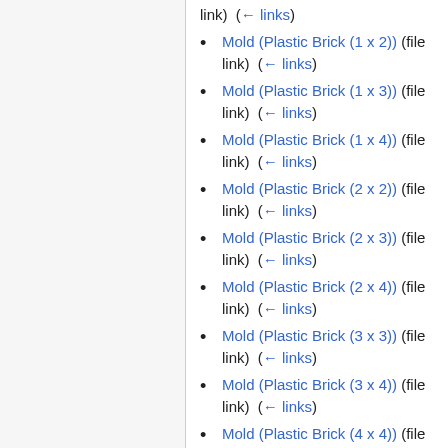link)  (← links)
Mold (Plastic Brick (1 x 2)) (file link)  (← links)
Mold (Plastic Brick (1 x 3)) (file link)  (← links)
Mold (Plastic Brick (1 x 4)) (file link)  (← links)
Mold (Plastic Brick (2 x 2)) (file link)  (← links)
Mold (Plastic Brick (2 x 3)) (file link)  (← links)
Mold (Plastic Brick (2 x 4)) (file link)  (← links)
Mold (Plastic Brick (3 x 3)) (file link)  (← links)
Mold (Plastic Brick (3 x 4)) (file link)  (← links)
Mold (Plastic Brick (4 x 4)) (file link)  (← links)